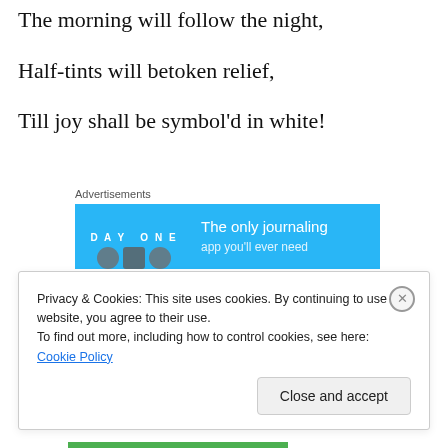Though dark are the shadows of grief,
The morning will follow the night,
Half-tints will betoken relief,
Till joy shall be symbol'd in white!
Advertisements
[Figure (other): DAY ONE app advertisement banner — blue background with app icons on the left and text 'The only journaling' on the right]
Privacy & Cookies: This site uses cookies. By continuing to use this website, you agree to their use.
To find out more, including how to control cookies, see here: Cookie Policy
Close and accept